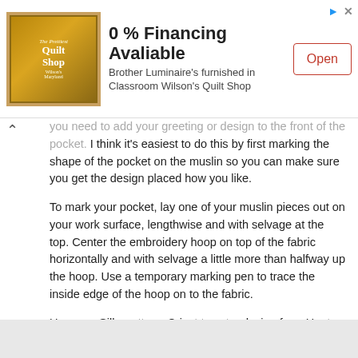[Figure (screenshot): Advertisement banner for The Prettiest Quilt Shop with 0% Financing Available offer for Brother Luminaire's furnished in Classroom Wilson's Quilt Shop, with an Open button]
you need to add your greeting or design to the front of the pocket. I think it's easiest to do this by first marking the shape of the pocket on the muslin so you can make sure you get the design placed how you like.
To mark your pocket, lay one of your muslin pieces out on your work surface, lengthwise and with selvage at the top. Center the embroidery hoop on top of the fabric horizontally and with selvage a little more than halfway up the hoop. Use a temporary marking pen to trace the inside edge of the hoop on to the fabric.
Use your Silhouette or Cricut to cut a design from Heat Transfer Vinyl. Follow manufacturer's instructions to apply the design to the muslin.
[Figure (photo): Partial view of an image at the bottom of the page, appears to be light gray/beige background]